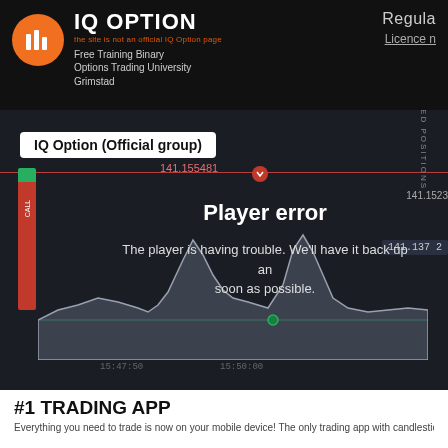[Figure (screenshot): IQ Option website header with orange logo icon, bold IQ OPTION text, disclaimer text in orange 'the site is not an official IQ Option page', subtitle 'Free Training Binary Options Trading University Grimstad', and partial text on right 'Regula' and 'Licence n']
[Figure (screenshot): Trading chart screenshot showing a financial candlestick/area chart with dark background, showing price around 141.155481, IQ Option Official group label, red vertical bar on left labeled CALL, green horizontal lines, and a 'Player error' overlay message reading 'The player is having trouble. We'll have it back up and running as soon as possible.' Price levels visible: 141.1523, 141.137 2, with CLOSED POSITIONS text vertically on right]
#1 TRADING APP
Everything you need to trade is now on your mobile device! The only trading app with candlestick c